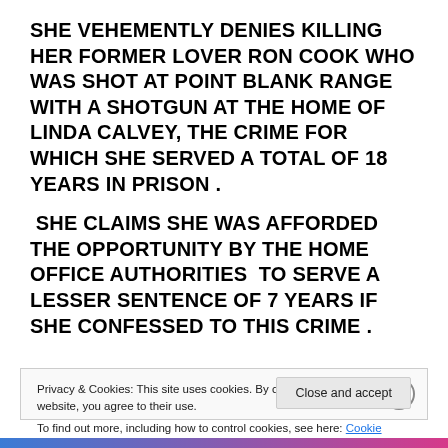SHE VEHEMENTLY DENIES KILLING HER FORMER LOVER RON COOK WHO WAS SHOT AT POINT BLANK RANGE WITH A SHOTGUN AT THE HOME OF LINDA CALVEY, THE CRIME FOR WHICH SHE SERVED A TOTAL OF 18 YEARS IN PRISON .
SHE CLAIMS SHE WAS AFFORDED THE OPPORTUNITY BY THE HOME OFFICE AUTHORITIES TO SERVE A LESSER SENTENCE OF 7 YEARS IF SHE CONFESSED TO THIS CRIME .
Privacy & Cookies: This site uses cookies. By continuing to use this website, you agree to their use.
To find out more, including how to control cookies, see here: Cookie Policy